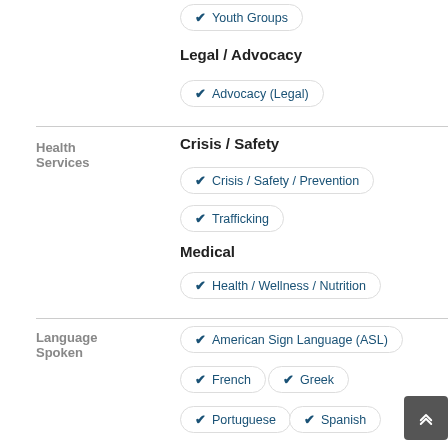✔ Youth Groups
Legal / Advocacy
✔ Advocacy (Legal)
Health Services
Crisis / Safety
✔ Crisis / Safety / Prevention
✔ Trafficking
Medical
✔ Health / Wellness / Nutrition
Language Spoken
✔ American Sign Language (ASL)
✔ French
✔ Greek
✔ Portuguese
✔ Spanish